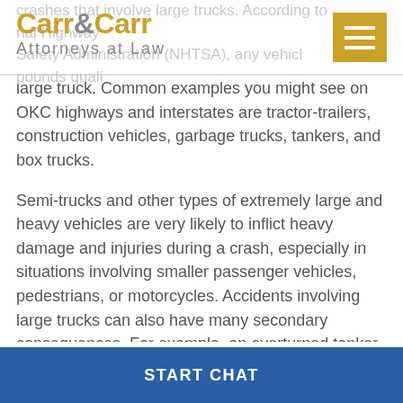Carr & Carr Attorneys at Law
crashes that involve large trucks. According to the National Highway Safety Administration (NHTSA), any vehicle weighing over 10,000 pounds qualifies as a large truck. Common examples you might see on OKC highways and interstates are tractor-trailers, construction vehicles, garbage trucks, tankers, and box trucks.
Semi-trucks and other types of extremely large and heavy vehicles are very likely to inflict heavy damage and injuries during a crash, especially in situations involving smaller passenger vehicles, pedestrians, or motorcycles. Accidents involving large trucks can also have many secondary consequences. For example, an overturned tanker truck may leak fuel, causing
START CHAT